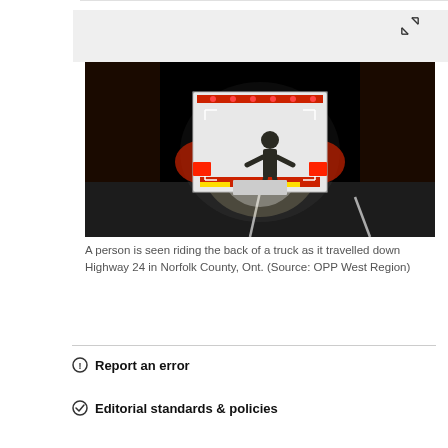RELATED IMAGES
[Figure (photo): A person riding on the back of a truck on a dark highway at night, seen from behind with red tail lights illuminating the scene. The truck's rear is lit and a human silhouette is visible clinging to it.]
A person is seen riding the back of a truck as it travelled down Highway 24 in Norfolk County, Ont. (Source: OPP West Region)
Report an error
Editorial standards & policies